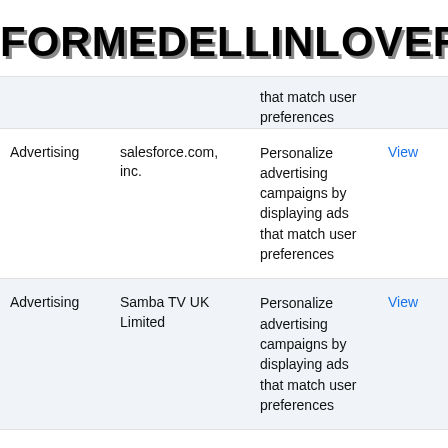FORMEDELLINLOVERS
| Category | Vendor | Description | Action |
| --- | --- | --- | --- |
|  |  | that match user preferences |  |
| Advertising | salesforce.com, inc. | Personalize advertising campaigns by displaying ads that match user preferences | View |
| Advertising | Samba TV UK Limited | Personalize advertising campaigns by displaying ads that match user preferences | View |
|  |  | Personalize |  |